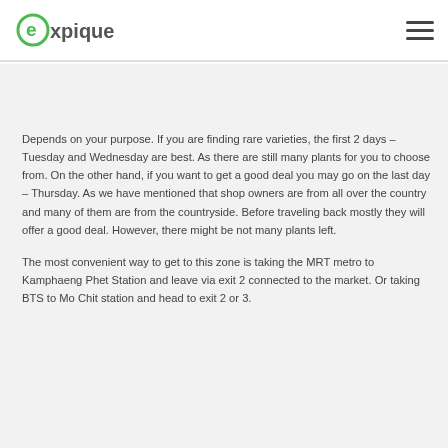expique
Depends on your purpose. If you are finding rare varieties, the first 2 days – Tuesday and Wednesday are best. As there are still many plants for you to choose from. On the other hand, if you want to get a good deal you may go on the last day – Thursday. As we have mentioned that shop owners are from all over the country and many of them are from the countryside. Before traveling back mostly they will offer a good deal. However, there might be not many plants left.
The most convenient way to get to this zone is taking the MRT metro to Kamphaeng Phet Station and leave via exit 2 connected to the market. Or taking BTS to Mo Chit station and head to exit 2 or 3.